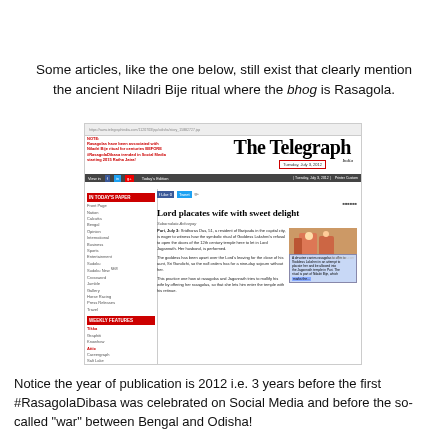Some articles, like the one below, still exist that clearly mention the ancient Niladri Bije ritual where the bhog is Rasagola.
[Figure (screenshot): Screenshot of The Telegraph India newspaper website dated Tuesday, July 3, 2012, showing an article titled 'Lord placates wife with sweet delight' about the Niladri Bije ritual. A red note overlay reads: 'Rasagolas have been associated with Niladri Bije ritual for centuries BEFORE #RasagolaDibasa trended in Social Media starting 2015 Ratha Jatra!']
Notice the year of publication is 2012 i.e. 3 years before the first #RasagolaDibasa was celebrated on Social Media and before the so-called "war" between Bengal and Odisha!